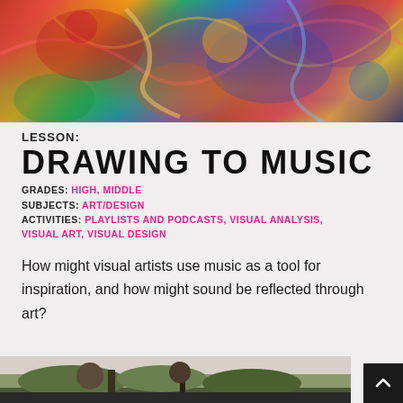[Figure (photo): Colorful abstract painting with swirling shapes in red, blue, orange, green and purple — used as lesson header image]
LESSON:
DRAWING TO MUSIC
GRADES: HIGH, MIDDLE
SUBJECTS: ART/DESIGN
ACTIVITIES: PLAYLISTS AND PODCASTS, VISUAL ANALYSIS, VISUAL ART, VISUAL DESIGN
How might visual artists use music as a tool for inspiration, and how might sound be reflected through art?
[Figure (photo): Bottom partial image showing a person outdoors with greenery, partially cropped]